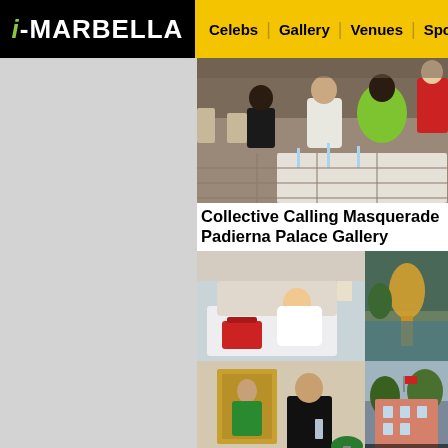i-MARBELLA | Celebs | Gallery | Venues | Sport | Restau...
[Figure (photo): People seated at dinner tables at a gala event, woman in bright green dress prominent]
Collective Calling Masquerade Padierna Palace Gallery
[Figure (photo): Four-panel photo grid: woman in white dress on hotel bed with red luggage; outdoor golden sculpture; man in suit holding glass in room with painting; hotel exterior building with i-MARBELLA EXCL... text overlay]
Annika Urm Blog: My Most Majestic Holiday at Anantara